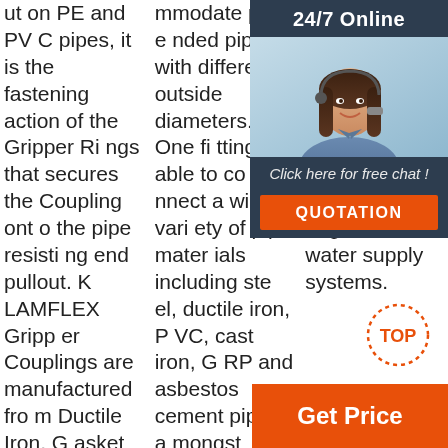ut on PE and PVC pipes, it is the fastening action of the Gripper Rings that secures the Coupling onto the pipe resisting end pullout. KLAMFLEX Gripper Couplings are manufactured from Ductile Iron, Gasket material is EPDM, Gripper Ring material is Brass, and coating is Fusion Bon
mmodate plain ended pipes with different outside diameters. One fitting is able to connect a wide variety of pipe materials including steel, ductile iron, PVC, cast iron, GRP and asbestos cement pipes, amongst others. The range is designed and manufactured under a strict quality ...
ems.Due to the fact that couplings offer a fast method for connecting pipes of various sizes, they are widely used in various piping conditions including gas and water supply systems.
[Figure (infographic): Customer service overlay panel with '24/7 Online' header, agent photo (woman with headset), 'Click here for free chat!' text, and orange QUOTATION button]
[Figure (infographic): Orange TOP button with dotted circle and orange GET PRICE button at bottom right]